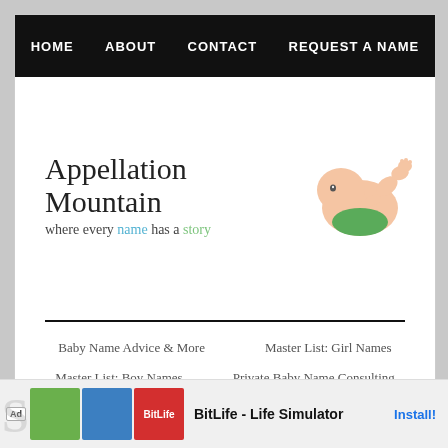HOME   ABOUT   CONTACT   REQUEST A NAME
[Figure (logo): Appellation Mountain logo with cursive text 'Appellation Mountain' and tagline 'where every name has a story' with a baby photo on the right]
Baby Name Advice & More   Master List: Girl Names
Master List: Boy Names   Private Baby Name Consulting
[Figure (screenshot): Ad banner: BitLife - Life Simulator with Install button]